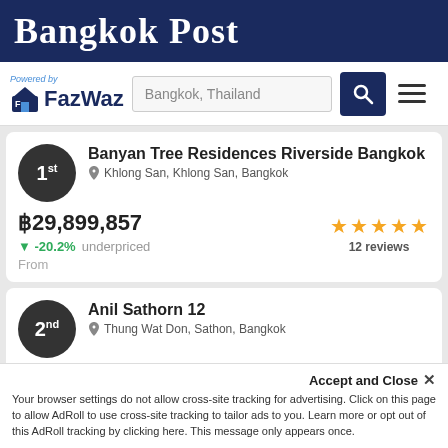Bangkok Post
Powered by FazWaz — Bangkok, Thailand search bar
1st — Banyan Tree Residences Riverside Bangkok — Khlong San, Khlong San, Bangkok — ฿29,899,857 — -20.2% underpriced — From — 12 reviews
2nd — Anil Sathorn 12 — Thung Wat Don, Sathon, Bangkok — ฿12,589,940 — 2.6% overpriced — From — 10 reviews
Accept and Close ✕
Your browser settings do not allow cross-site tracking for advertising. Click on this page to allow AdRoll to use cross-site tracking to tailor ads to you. Learn more or opt out of this AdRoll tracking by clicking here. This message only appears once.